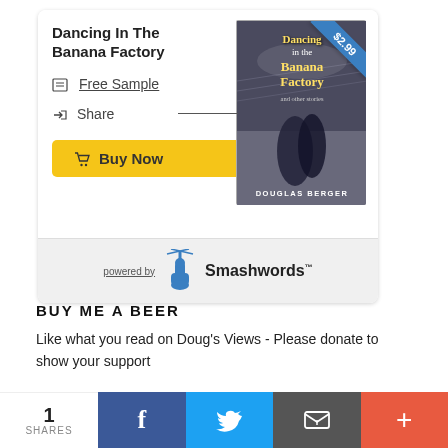[Figure (screenshot): Smashwords widget card showing 'Dancing In The Banana Factory' book with cover image, Free Sample link, Share link, Buy Now button, and 'powered by Smashwords' footer. The book cover has a $2.99 price ribbon. Below the card is a 'BUY ME A BEER' section and social sharing bar.]
Dancing In The Banana Factory
Free Sample
Share
Buy Now
powered by Smashwords
BUY ME A BEER
Like what you read on Doug's Views - Please donate to show your support
1 SHARES